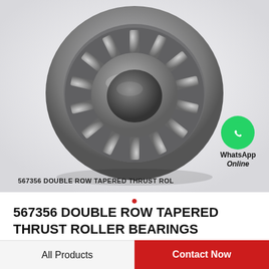[Figure (photo): Photo of a 567356 double row tapered thrust roller bearing, viewed from above at a slight angle, showing the circular steel bearing with tapered rollers inside, on a light gray background.]
567356 DOUBLE ROW TAPERED THRUST ROLLER BEARINGS
567356 DOUBLE ROW TAPERED THRUST ROLLER BEARINGS
All Products
Contact Now